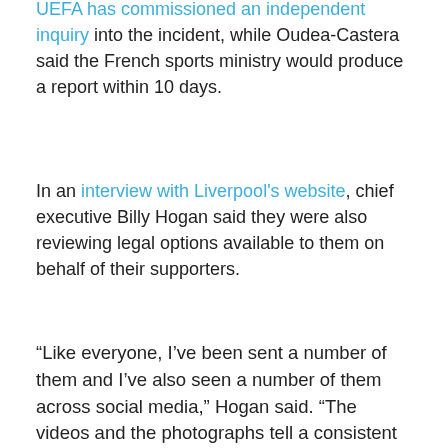UEFA has commissioned an independent inquiry into the incident, while Oudea-Castera said the French sports ministry would produce a report within 10 days.
In an interview with Liverpool's website, chief executive Billy Hogan said they were also reviewing legal options available to them on behalf of their supporters.
“Like everyone, I’ve been sent a number of them and I’ve also seen a number of them across social media,” Hogan said. “The videos and the photographs tell a consistent story: the unacceptable treatment of men, women and children which was, again, completely unacceptable.
“Also, to say our fans didn’t turn up on time is crazy. My colleagues across the club, our ownership and I, we all saw it with our own eyes; we were outside the ground, on the ground, in those crowds and from everything I saw, our fans arrived